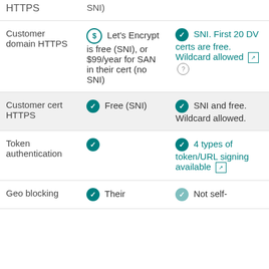| Feature | Option 1 | Option 2 |
| --- | --- | --- |
| HTTPS | SNI) |  |
| Customer domain HTTPS | $ Let's Encrypt is free (SNI), or $99/year for SAN in their cert (no SNI) | ✓ SNI. First 20 DV certs are free. Wildcard allowed ↗ ? |
| Customer cert HTTPS | ✓ Free (SNI) | ✓ SNI and free. Wildcard allowed. |
| Token authentication | ✓ | ✓ 4 types of token/URL signing available ↗ |
| Geo blocking | ✓ Their | ◎ Not self- |